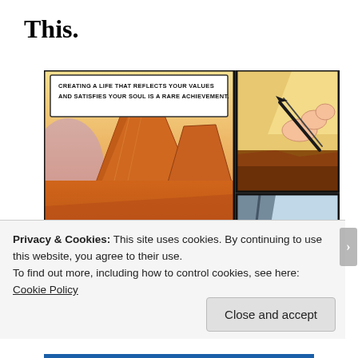This.
[Figure (illustration): Comic strip showing desert canyon landscape in left panel with text bubble reading 'CREATING A LIFE THAT REFLECTS YOUR VALUES AND SATISFIES YOUR SOUL IS A RARE ACHIEVEMENT.' Right side has two panels: top panel shows a hand holding a pen/brush drawing, bottom panel shows a smiling man with glasses in green shirt.]
Privacy & Cookies: This site uses cookies. By continuing to use this website, you agree to their use.
To find out more, including how to control cookies, see here: Cookie Policy
Close and accept